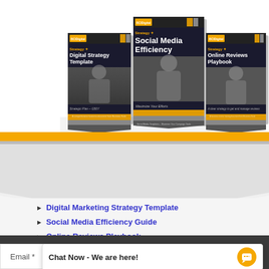[Figure (illustration): Three book/guide covers displayed side by side: Digital Strategy Template (left), Social Media Efficiency (center, larger), Online Reviews Playbook (right). Each has a dark header with logo, orange and gray accents, white title text, a person photo background, and chevron design elements.]
Digital Marketing Strategy Template
Social Media Efficiency Guide
Online Reviews Playbook
+ Monthly Tips & Updates to Your Inbox!
enter your email address
Chat Now - We are here!
Email *